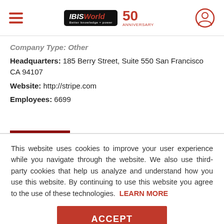IBISWorld 50th Anniversary — navigation header
Company Type: Other
Headquarters: 185 Berry Street, Suite 550 San Francisco CA 94107
Website: http://stripe.com
Employees: 6699
This website uses cookies to improve your user experience while you navigate through the website. We also use third-party cookies that help us analyze and understand how you use this website. By continuing to use this website you agree to the use of these technologies. LEARN MORE
ACCEPT